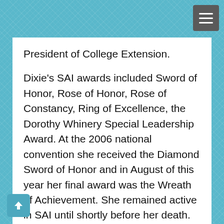President of College Extension.
Dixie's SAI awards included Sword of Honor, Rose of Honor, Rose of Constancy, Ring of Excellence, the Dorothy Whinery Special Leadership Award. At the 2006 national convention she received the Diamond Sword of Honor and in August of this year her final award was the Wreath of Achievement. She remained active in SAI until shortly before her death.
The UMKC Conservatory of Music also held a special place in her life and she was a dedicated alumna. She represented the Conservatory on the MKC Alumni Association for six years, serving on